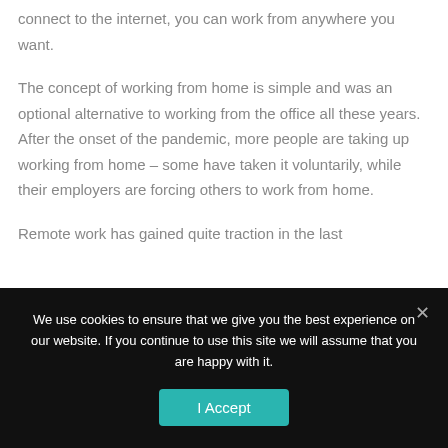connect to the internet, you can work from anywhere you want.
The concept of working from home is simple and was an optional alternative to working from the office all these years. After the onset of the pandemic, more people are taking up working from home – some have taken it voluntarily, while their employers are forcing others to work from home.
Remote work has gained quite traction in the last
We use cookies to ensure that we give you the best experience on our website. If you continue to use this site we will assume that you are happy with it.